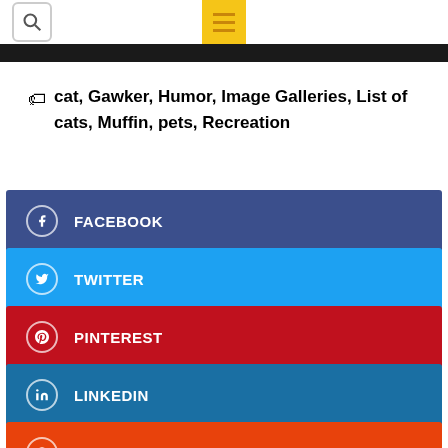Search | Menu
cat, Gawker, Humor, Image Galleries, List of cats, Muffin, pets, Recreation
FACEBOOK
TWITTER
PINTEREST
LINKEDIN
REDDIT